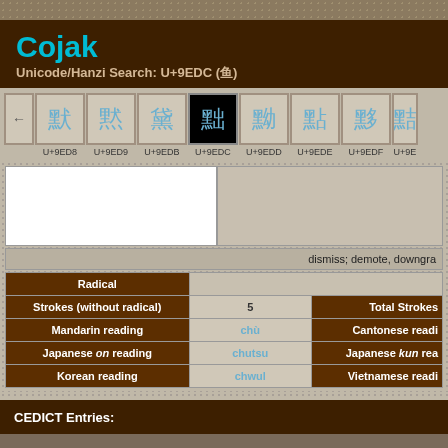Cojak
Unicode/Hanzi Search: U+9EDC (刜)
[Figure (screenshot): Unicode character navigation bar showing characters U+9ED8 through U+9EDF with U+9EDC highlighted in black]
| Radical |  | Strokes (without radical) | 5 | Total Strokes | Mandarin reading | chù | Cantonese reading | Japanese on reading | chutsu | Japanese kun reading | Korean reading | chwul | Vietnamese reading |
| --- | --- | --- | --- | --- | --- | --- | --- | --- | --- | --- | --- | --- | --- |
dismiss; demote, downgra
CEDICT Entries: